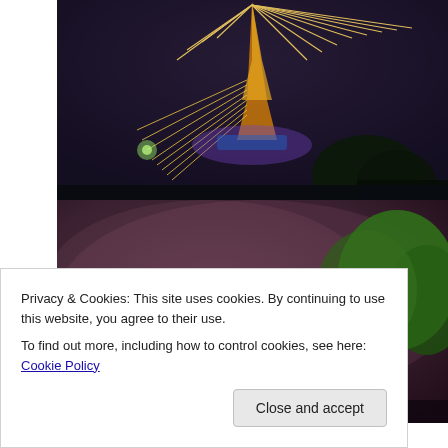[Figure (photo): Eiffel Tower at night with fireworks and light display, bright streaks of light emanating from the tower against a dark sky with trees visible at bottom]
[Figure (photo): Second night photo showing smoke/mist in the sky with green illuminated trees on the right side and a small light source visible]
Privacy & Cookies: This site uses cookies. By continuing to use this website, you agree to their use.
To find out more, including how to control cookies, see here: Cookie Policy
Close and accept